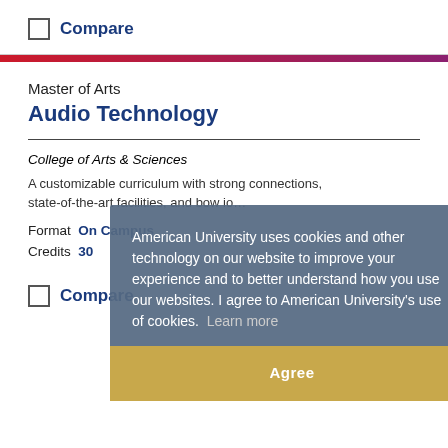Compare
Master of Arts
Audio Technology
College of Arts & Sciences
A customizable curriculum with strong connections, state-of-the-art facilities, and bow io…
Format  On Campus
Credits  30
Compare
American University uses cookies and other technology on our website to improve your experience and to better understand how you use our websites. I agree to American University's use of cookies. Learn more
Agree